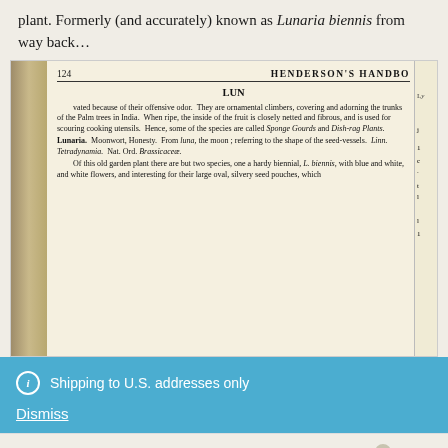plant. Formerly (and accurately) known as Lunaria biennis from way back…
[Figure (photo): Scanned page from Henderson's Handbook showing page 124 with entries under 'LUN' including text about Luffa plants and Lunaria (Moonwort, Honesty).]
Shipping to U.S. addresses only
Dismiss